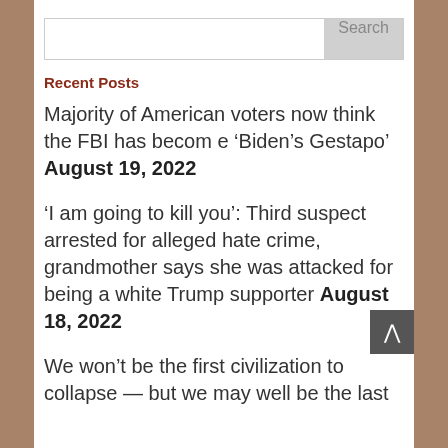Search
Recent Posts
Majority of American voters now think the FBI has becom e ‘Biden’s Gestapo’ August 19, 2022
‘I am going to kill you’: Third suspect arrested for alleged hate crime, grandmother says she was attacked for being a white Trump supporter August 18, 2022
We won’t be the first civilization to collapse — but we may well be the last